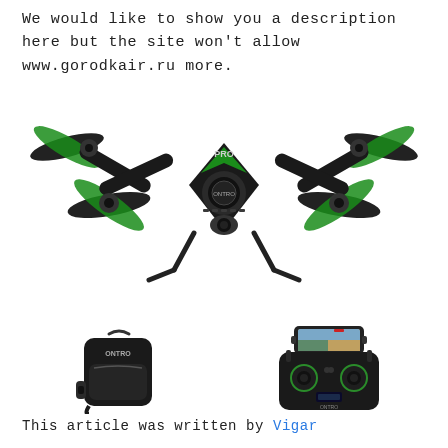We would like to show you a description here but the site won't allow www.gorodkair.ru more.
[Figure (photo): Black and green quadcopter drone with four propellers, viewed from the front at a slight angle, with a camera mounted underneath. The drone has 'PRO' branding visible.]
[Figure (photo): Black travel backpack/carrying case with a handle on top, featuring a brand logo on the front.]
[Figure (photo): Black drone remote controller with a smartphone mounted on top showing a camera feed image. The controller has two joysticks with green LED rings and a display screen.]
This article was written by Vigar